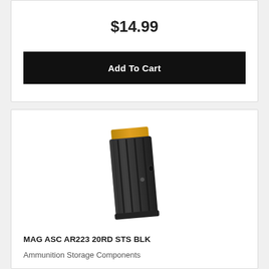$14.99
Add To Cart
[Figure (photo): Black steel AR-15/AR-223 20-round magazine with orange follower visible at top, ribbed body with viewing hole, angled slightly.]
MAG ASC AR223 20RD STS BLK
Ammunition Storage Components